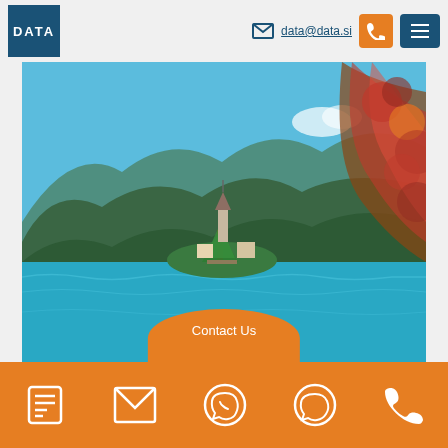[Figure (logo): DATA company logo - white text on dark blue square background]
data@data.si
[Figure (photo): Scenic photo of Lake Bled, Slovenia with island church, turquoise water, mountains, and autumn foliage in foreground]
Contact Us
[Figure (infographic): Orange footer bar with five white icons: form/list icon, email envelope icon, Viber icon, WhatsApp icon, phone handset icon]